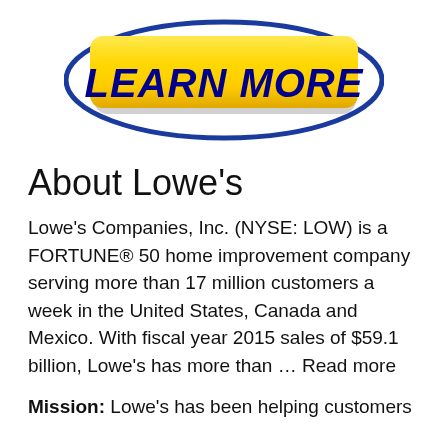[Figure (logo): Yellow 'LEARN MORE' button with blue oval border, styled like a Lowe's promotional button]
About Lowe's
Lowe's Companies, Inc. (NYSE: LOW) is a FORTUNE® 50 home improvement company serving more than 17 million customers a week in the United States, Canada and Mexico. With fiscal year 2015 sales of $59.1 billion, Lowe's has more than … Read more
Mission: Lowe's has been helping customers